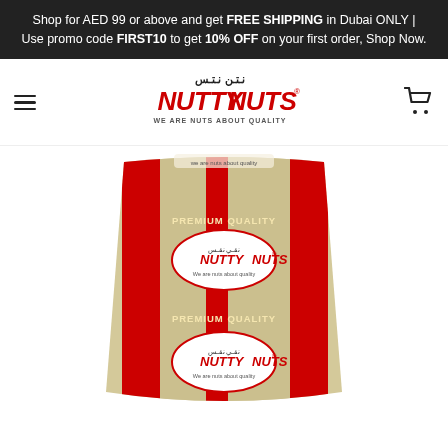Shop for AED 99 or above and get FREE SHIPPING in Dubai ONLY | Use promo code FIRST10 to get 10% OFF on your first order, Shop Now.
[Figure (logo): Nutty Nuts logo with Arabic text and tagline WE ARE NUTS ABOUT QUALITY]
[Figure (photo): Nutty Nuts branded product bag containing sesame seeds or similar grain, red and gold packaging with PREMIUM QUALITY label and brand logo shown twice on bag]